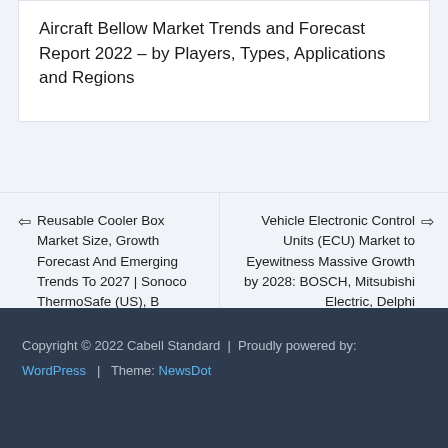Aircraft Bellow Market Trends and Forecast Report 2022 – by Players, Types, Applications and Regions
← Reusable Cooler Box Market Size, Growth Forecast And Emerging Trends To 2027 | Sonoco ThermoSafe (US), B Medical Systems (Luxembourg), Blowkings (India), ISONOVA (Italy)
Vehicle Electronic Control Units (ECU) Market to Eyewitness Massive Growth by 2028: BOSCH, Mitsubishi Electric, Delphi →
Copyright © 2022 Cabell Standard | Proudly powered by: WordPress | Theme: NewsDot